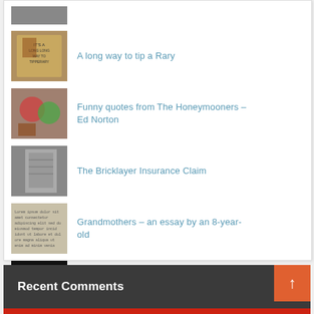A long way to tip a Rary
Funny quotes from The Honeymooners – Ed Norton
The Bricklayer Insurance Claim
Grandmothers – an essay by an 8-year-old
Waiting for the other shoe to drop
Tom Jones syndrome
Recent Comments